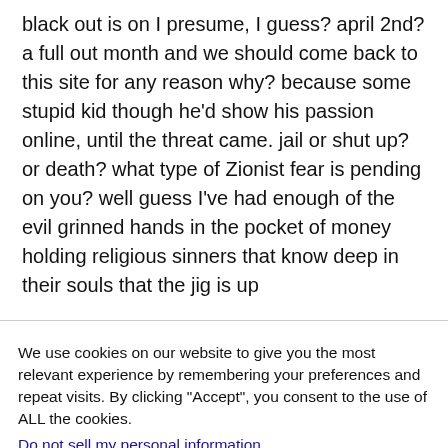black out is on I presume, I guess? april 2nd? a full out month and we should come back to this site for any reason why? because some stupid kid though he'd show his passion online, until the threat came. jail or shut up? or death? what type of Zionist fear is pending on you? well guess I've had enough of the evil grinned hands in the pocket of money holding religious sinners that know deep in their souls that the jig is up
We use cookies on our website to give you the most relevant experience by remembering your preferences and repeat visits. By clicking "Accept", you consent to the use of ALL the cookies.
Do not sell my personal information.
Settings
Accept